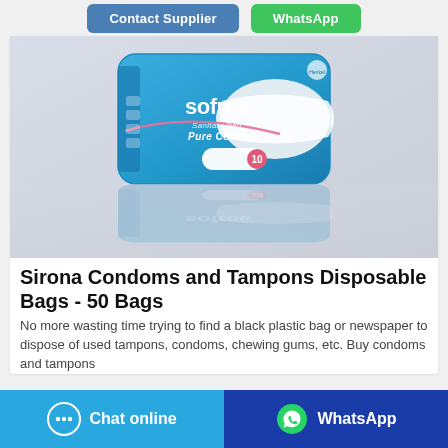[Figure (screenshot): Top buttons: Contact Supplier (blue) and WhatsApp (green)]
[Figure (photo): Product photo of Sofree Sanitary Pad Pure Cotton package (blue packaging, 10 pads), shown with reflection]
Sirona Condoms and Tampons Disposable Bags - 50 Bags
No more wasting time trying to find a black plastic bag or newspaper to dispose of used tampons, condoms, chewing gums, etc. Buy condoms and tampons
[Figure (screenshot): Bottom action buttons: Chat online (light blue) and WhatsApp (dark blue)]